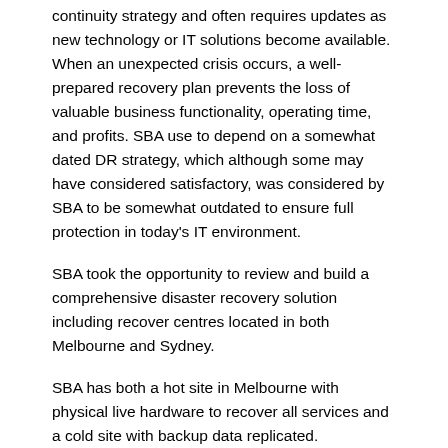continuity strategy and often requires updates as new technology or IT solutions become available. When an unexpected crisis occurs, a well-prepared recovery plan prevents the loss of valuable business functionality, operating time, and profits. SBA use to depend on a somewhat dated DR strategy, which although some may have considered satisfactory, was considered by SBA to be somewhat outdated to ensure full protection in today's IT environment.
SBA took the opportunity to review and build a comprehensive disaster recovery solution including recover centres located in both Melbourne and Sydney.
SBA has both a hot site in Melbourne with physical live hardware to recover all services and a cold site with backup data replicated.
One of the most important services at SBA is the member administration platform. SBA uses its Administration Platform to maintain its membership data which is considered the highest level of priority in the event of a major disruption. SBA took this very seriously and now replicates the database to both its Melbourne and Sydney DR sites every 15 minutes and to a live Database server in its Melbourne